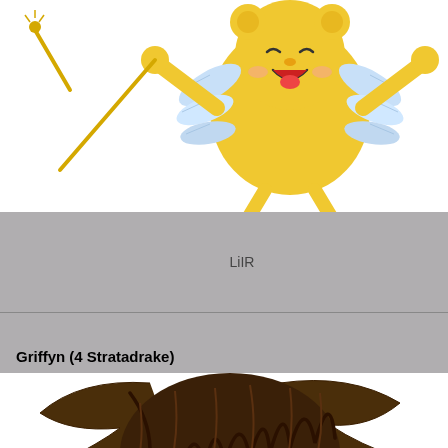[Figure (illustration): Hand-drawn illustration of a cute yellow bear-like creature (Kero/Cerberus) with wings, holding a wand, floating with arms raised and mouth open happily, on white background]
LiIR
Griffyn (4 Stratadrake)
[Figure (illustration): Hand-drawn illustration of a griffyn (griffin-like creature) with brown mane and dark wings, orange/tan lion body, crouching aggressively with mouth open showing red tongue, with a signature 'Drawn by LiIR' at bottom right, on white background]